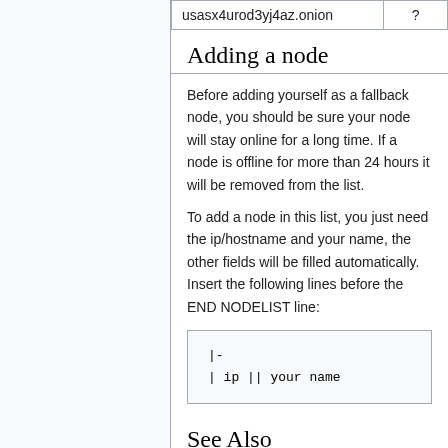|  | ? |
| --- | --- |
| usasx4urod3yj4az.onion | ? |
Adding a node
Before adding yourself as a fallback node, you should be sure your node will stay online for a long time. If a node is offline for more than 24 hours it will be removed from the list.
To add a node in this list, you just need the ip/hostname and your name, the other fields will be filled automatically. Insert the following lines before the END NODELIST line:
|-
| ip || your name
See Also